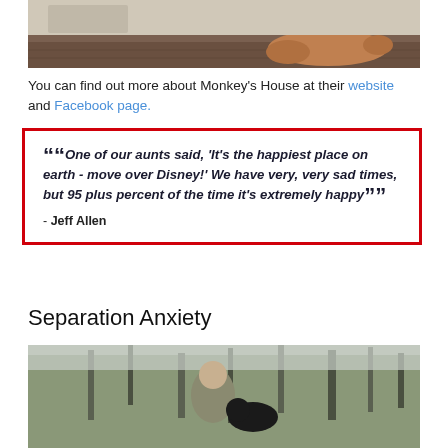[Figure (photo): Photo of dogs lying on a wooden floor, one is a brown/golden dog resting its head down]
You can find out more about Monkey's House at their website and Facebook page.
“One of our aunts said, 'It's the happiest place on earth - move over Disney!' We have very, very sad times, but 95 plus percent of the time it’s extremely happy”

- Jeff Allen
Separation Anxiety
[Figure (photo): Photo of a man with wavy hair wearing a jacket, standing outdoors with trees in background, with a black Labrador dog]